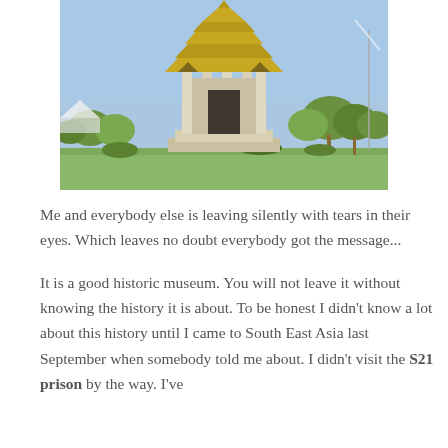[Figure (photo): Outdoor photo of a Cambodian memorial stupa/monument with a traditional Khmer-style tiered roof, white pillars, set in a green park with trees under a blue sky.]
Me and everybody else is leaving silently with tears in their eyes. Which leaves no doubt everybody got the message...
It is a good historic museum. You will not leave it without knowing the history it is about. To be honest I didn't know a lot about this history until I came to South East Asia last September when somebody told me about. I didn't visit the S21 prison by the way. I've